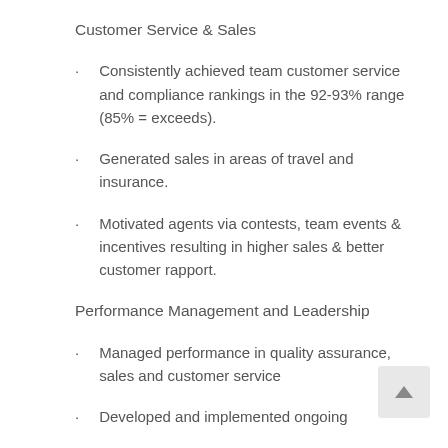Customer Service & Sales
Consistently achieved team customer service and compliance rankings in the 92-93% range (85% = exceeds).
Generated sales in areas of travel and insurance.
Motivated agents via contests, team events & incentives resulting in higher sales & better customer rapport.
Performance Management and Leadership
Managed performance in quality assurance, sales and customer service
Developed and implemented ongoing